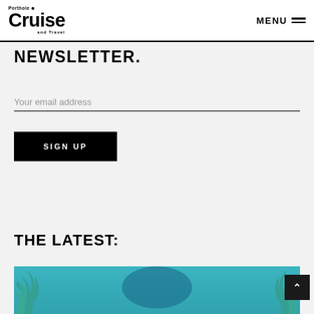Porthole Cruise and Travel — MENU
NEWSLETTER.
Your email address
SIGN UP
THE LATEST:
[Figure (photo): Tropical beach scene with palm trees and blue sky, partially visible at bottom of page]